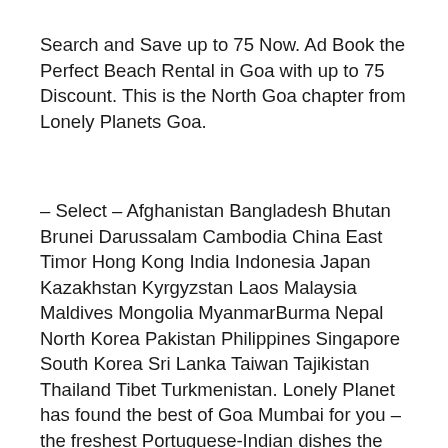Search and Save up to 75 Now. Ad Book the Perfect Beach Rental in Goa with up to 75 Discount. This is the North Goa chapter from Lonely Planets Goa.
– Select – Afghanistan Bangladesh Bhutan Brunei Darussalam Cambodia China East Timor Hong Kong India Indonesia Japan Kazakhstan Kyrgyzstan Laos Malaysia Maldives Mongolia MyanmarBurma Nepal North Korea Pakistan Philippines Singapore South Korea Sri Lanka Taiwan Tajikistan Thailand Tibet Turkmenistan. Lonely Planet has found the best of Goa Mumbai for you – the freshest Portuguese-Indian dishes the finest stretches of sand Panajis most picturesque laneways Mumbais liveliest bars